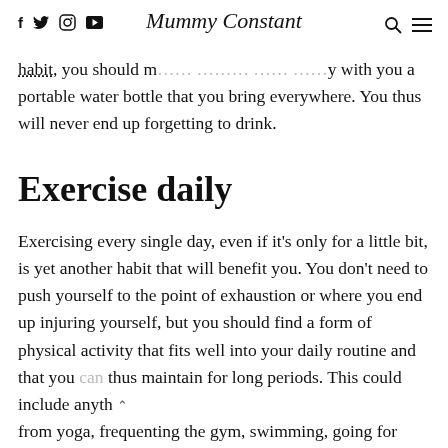f  🐦  📷  ▶   Mummy Constant  🔍  ☰
habit, you should m…………………………y with you a portable water bottle that you bring everywhere. You thus will never end up forgetting to drink.
Exercise daily
Exercising every single day, even if it's only for a little bit, is yet another habit that will benefit you. You don't need to push yourself to the point of exhaustion or where you end up injuring yourself, but you should find a form of physical activity that fits well into your daily routine and that you can thus maintain for long periods. This could include anyth… from yoga, frequenting the gym, swimming, going for runs, and much more.